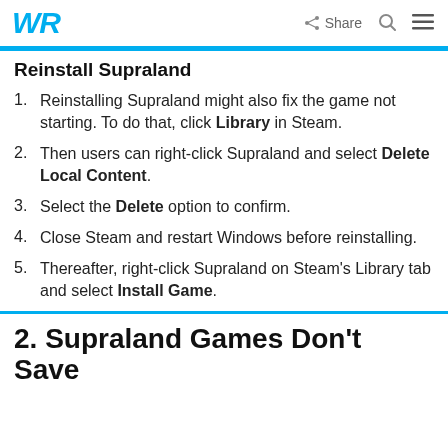WR | Share [search] [menu]
Reinstall Supraland
Reinstalling Supraland might also fix the game not starting. To do that, click Library in Steam.
Then users can right-click Supraland and select Delete Local Content.
Select the Delete option to confirm.
Close Steam and restart Windows before reinstalling.
Thereafter, right-click Supraland on Steam's Library tab and select Install Game.
2. Supraland Games Don't Save